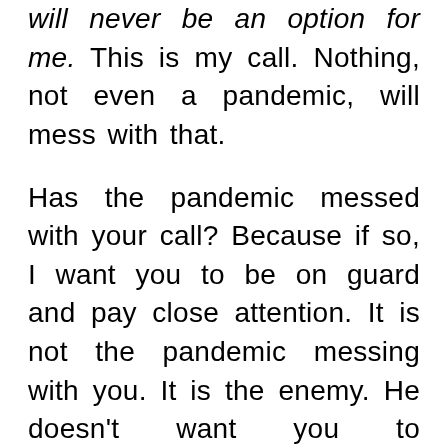will never be an option for me. This is my call. Nothing, not even a pandemic, will mess with that.
Has the pandemic messed with your call? Because if so, I want you to be on guard and pay close attention. It is not the pandemic messing with you. It is the enemy. He doesn't want you to encounter Christ. He doesn't want you to lead others to Christ. And he surely doesn't want you to live out your purpose. He wants to steal your joy.
He has no idea who he is dealing